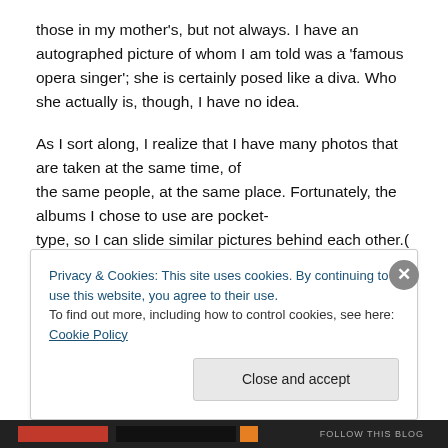those in my mother's, but not always. I have an autographed picture of whom I am told was a 'famous opera singer'; she is certainly posed like a diva. Who she actually is, though, I have no idea.
As I sort along, I realize that I have many photos that are taken at the same time, of the same people, at the same place. Fortunately, the albums I chose to use are pocket-type, so I can slide similar pictures behind each other.( My sister was the darling of her
Privacy & Cookies: This site uses cookies. By continuing to use this website, you agree to their use.
To find out more, including how to control cookies, see here: Cookie Policy